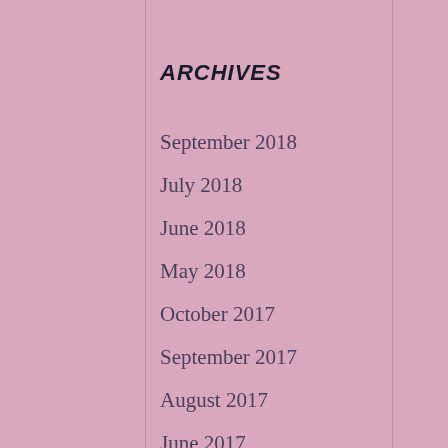ARCHIVES
September 2018
July 2018
June 2018
May 2018
October 2017
September 2017
August 2017
June 2017